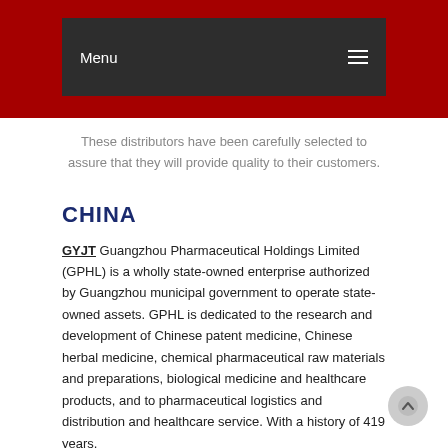Menu
These distributors have been carefully selected to assure that they will provide quality to their customers.
CHINA
GYJT Guangzhou Pharmaceutical Holdings Limited (GPHL) is a wholly state-owned enterprise authorized by Guangzhou municipal government to operate state-owned assets. GPHL is dedicated to the research and development of Chinese patent medicine, Chinese herbal medicine, chemical pharmaceutical raw materials and preparations, biological medicine and healthcare products, and to pharmaceutical logistics and distribution and healthcare service. With a history of 419 years,